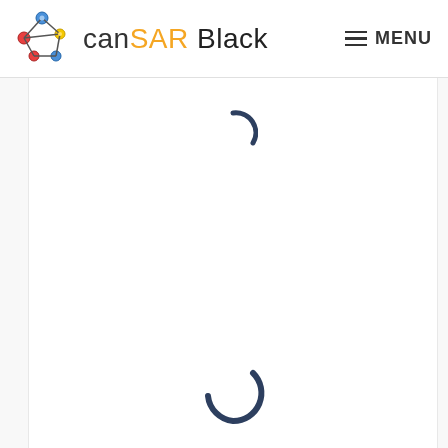canSAR Black  MENU
[Figure (screenshot): Loading spinner (partial arc) at top of content area]
[Figure (screenshot): Loading spinner (partial arc) at bottom of content area]